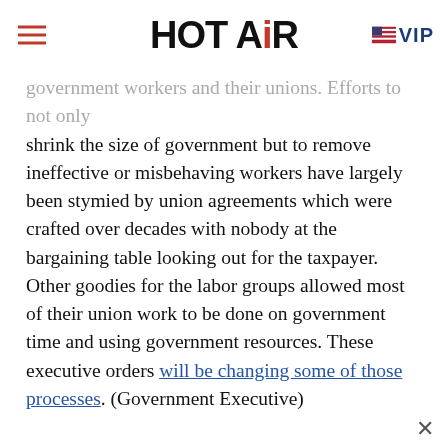HOT AIR — VIP
government workers and their unions. Efforts to not only shrink the size of government but to remove ineffective or misbehaving workers have largely been stymied by union agreements which were crafted over decades with nobody at the bargaining table looking out for the taxpayer. Other goodies for the labor groups allowed most of their union work to be done on government time and using government resources. These executive orders will be changing some of those processes. (Government Executive)